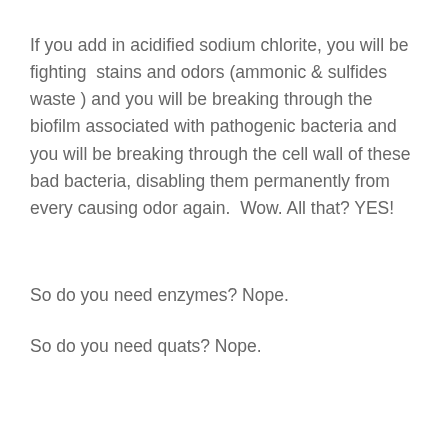If you add in acidified sodium chlorite, you will be fighting stains and odors (ammonic & sulfides waste) and you will be breaking through the biofilm associated with pathogenic bacteria and you will be breaking through the cell wall of these bad bacteria, disabling them permanently from every causing odor again. Wow. All that? YES!
So do you need enzymes? Nope.
So do you need quats? Nope.